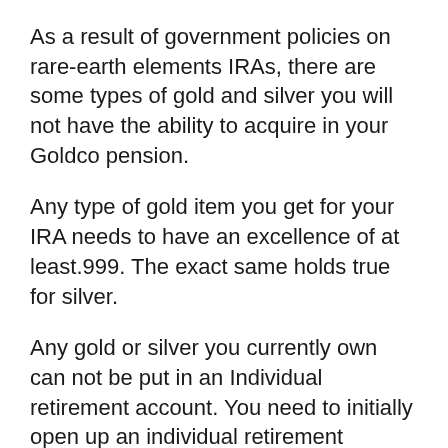As a result of government policies on rare-earth elements IRAs, there are some types of gold and silver you will not have the ability to acquire in your Goldco pension.
Any type of gold item you get for your IRA needs to have an excellence of at least.999. The exact same holds true for silver.
Any gold or silver you currently own can not be put in an Individual retirement account. You need to initially open up an individual retirement account and afterwards acquisition coins to add to it.
There are numerous selections Goldco currently provides for purchase. These consist of: